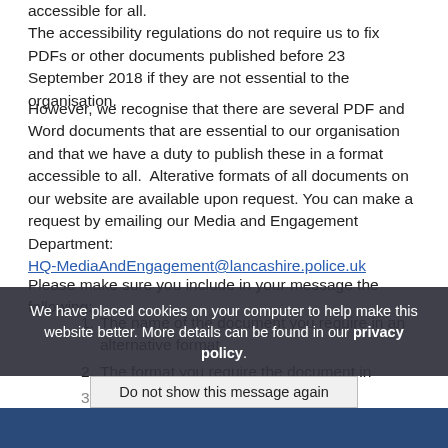accessible for all. The accessibility regulations do not require us to fix PDFs or other documents published before 23 September 2018 if they are not essential to the organisation.
However, we recognise that there are several PDF and Word documents that are essential to our organisation and that we have a duty to publish these in a format accessible to all.  Alterative formats of all documents on our website are available upon request. You can make a request by emailing our Media and Engagement Department: HQ-MediaAndEngagement@lancashire.police.uk
Please make sure you include in your message the following:
The name of the document you require in an alternative format
The format you require the document in
Your name
We have placed cookies on your computer to help make this website better. More details can be found in our privacy policy.
Do not show this message again